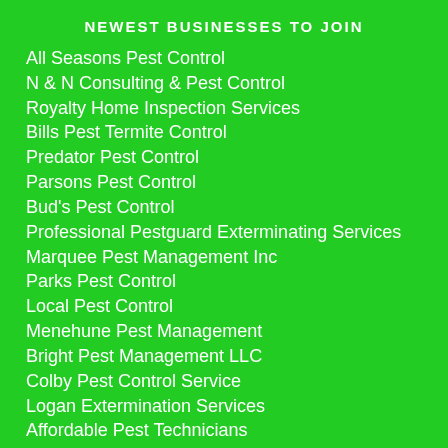NEWEST BUSINESSES TO JOIN
All Seasons Pest Control
N & N Consulting & Pest Control
Royalty Home Inspection Services
Bills Pest Termite Control
Predator Pest Control
Parsons Pest Control
Bud's Pest Control
Professional Pestguard Exterminating Services
Marquee Pest Management Inc
Parks Pest Control
Local Pest Control
Menehune Pest Management
Bright Pest Management LLC
Colby Pest Control Service
Logan Extermination Services
Affordable Pest Technicians
Apple Pest Control
Harvest Valley Pest Control